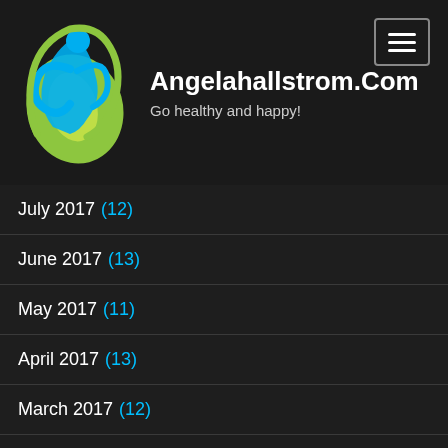[Figure (logo): Angelahallstrom.com website logo: blue figure with leaf/droplet shape in green and yellow]
Angelahallstrom.Com
Go healthy and happy!
July 2017 (12)
June 2017 (13)
May 2017 (11)
April 2017 (13)
March 2017 (12)
February 2017 (12)
January 2017 (13)
December 2016 (13)
November 2016 (13)